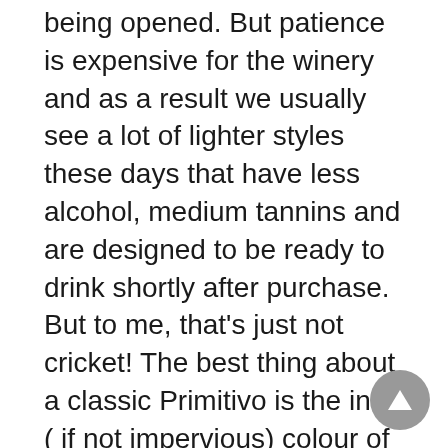being opened. But patience is expensive for the winery and as a result we usually see a lot of lighter styles these days that have less alcohol, medium tannins and are designed to be ready to drink shortly after purchase. But to me, that's just not cricket! The best thing about a classic Primitivo is the inky ( if not impervious) colour of the wine in the bottle and the intensity of flavours and firm tannins that will take time to subside over the years.
While I enjoy most styles of the vinified grape ( even those from California), the undeniable spiritual home of the varietal is in Puglia on the south-eastern coast of “the boot”. In the district, Primitive accounts for over 11,000 hectares under